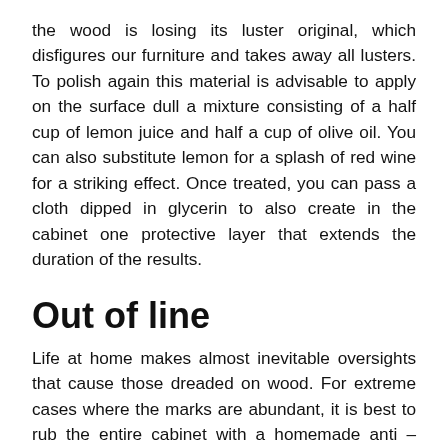the wood is losing its luster original, which disfigures our furniture and takes away all lusters. To polish again this material is advisable to apply on the surface dull a mixture consisting of a half cup of lemon juice and half a cup of olive oil. You can also substitute lemon for a splash of red wine for a striking effect. Once treated, you can pass a cloth dipped in glycerin to also create in the cabinet one protective layer that extends the duration of the results.
Out of line
Life at home makes almost inevitable oversights that cause those dreaded on wood. For extreme cases where the marks are abundant, it is best to rub the entire cabinet with a homemade anti – scratch solution: olive oil, and alcohol. If there is a scratch or a few localized, the damage disappear easily using